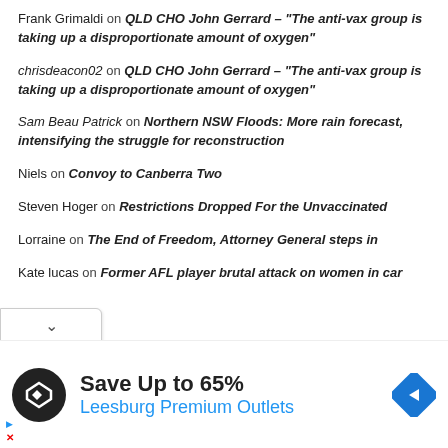Frank Grimaldi on QLD CHO John Gerrard – "The anti-vax group is taking up a disproportionate amount of oxygen"
chrisdeacon02 on QLD CHO John Gerrard – "The anti-vax group is taking up a disproportionate amount of oxygen"
Sam Beau Patrick on Northern NSW Floods: More rain forecast, intensifying the struggle for reconstruction
Niels on Convoy to Canberra Two
Steven Hoger on Restrictions Dropped For the Unvaccinated
Lorraine on The End of Freedom, Attorney General steps in
Kate lucas on Former AFL player brutal attack on women in car
[Figure (screenshot): Advertisement banner: Save Up to 65% Leesburg Premium Outlets with logo icons]